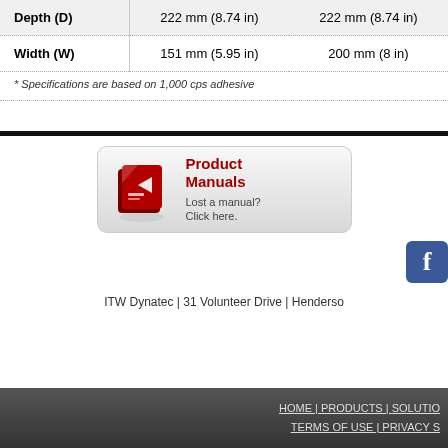|  | Col1 | Col2 |
| --- | --- | --- |
| Depth (D) | 222 mm (8.74 in) | 222 mm (8.74 in) |
| Width (W) | 151 mm (5.95 in) | 200 mm (8 in) |
* Specifications are based on 1,000 cps adhesive
[Figure (other): Product Manuals banner with red document icon, text 'Product Manuals' in red bold and 'Lost a manual? Click here.' in gray]
[Figure (logo): Partial Facebook logo icon (blue square with white f)]
ITW Dynatec | 31 Volunteer Drive | Henderso
HOME | PRODUCTS | SOLUTIONS  TERMS OF USE | PRIVACY S